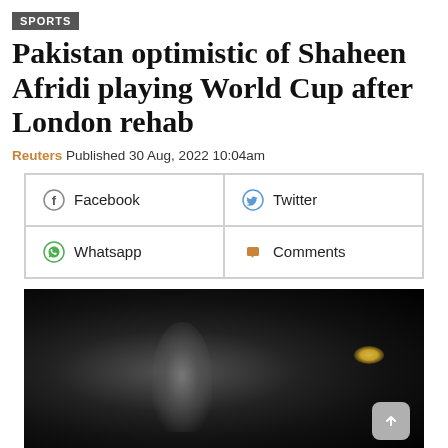SPORTS
Pakistan optimistic of Shaheen Afridi playing World Cup after London rehab
Reuters Published 30 Aug, 2022 10:04am
[Figure (screenshot): Social sharing buttons grid: Facebook, Twitter, Whatsapp, Comments]
[Figure (photo): Dark blurred sports photograph, mostly black with a faint illuminated figure and a light source on the right]